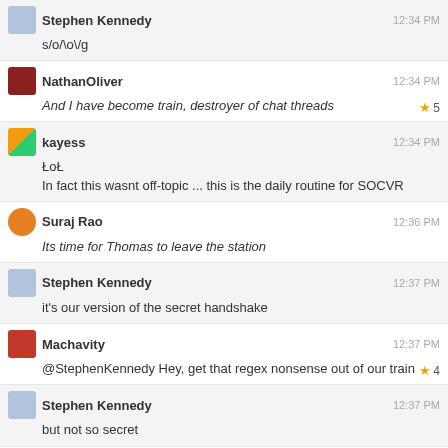Stephen Kennedy — 12:34 PM — s/o/\o\/g
NathanOliver — 12:34 PM — And I have become train, destroyer of chat threads ★5
kayess — 12:34 PM — ŁoŁ
In fact this wasnt off-topic ... this is the daily routine for SOCVR
Suraj Rao — 12:36 PM — Its time for Thomas to leave the station
Stephen Kennedy — 12:37 PM — it's our version of the secret handshake
Machavity — 12:37 PM — @StephenKennedy Hey, get that regex nonsense out of our train ★4
Stephen Kennedy — 12:37 PM — but not so secret
kayess — 12:38 PM — Well it is... you can only get the decryption algo at the SOCVR Academia
1 hour later...
double-beep — 1:42 PM — fcc @Malvyn another different date format ^